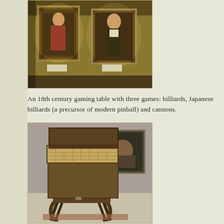[Figure (photo): Museum gallery photo showing two portrait paintings hanging on a golden-yellow wall, with small label plaques below each painting]
An 18th century gaming table with three games: billiards, Japanese billiards (a precursor of modern pinball) and cannons.
[Figure (photo): Museum exhibit photo showing an 18th century gaming table with a folding top and wicker/cane surface, displayed in a gallery with a painting visible in the background]